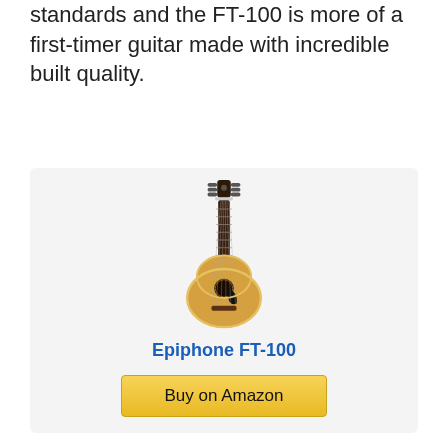standards and the FT-100 is more of a first-timer guitar made with incredible built quality.
[Figure (photo): Acoustic guitar (Epiphone FT-100) with natural wood finish, shown upright against white background]
Epiphone FT-100
Buy on Amazon